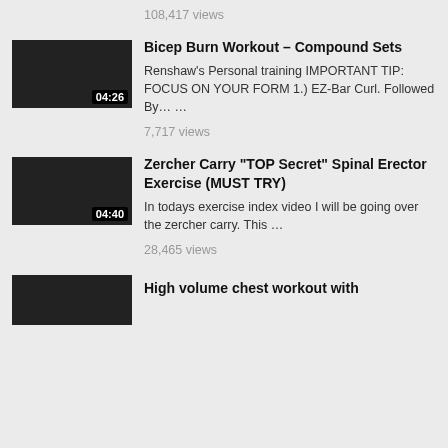108,417 views
Bicep Burn Workout – Compound Sets
Renshaw's Personal training IMPORTANT TIP: FOCUS ON YOUR FORM 1.) EZ-Bar Curl. Followed By… …
7,717 views
Zercher Carry “TOP Secret” Spinal Erector Exercise (MUST TRY)
In todays exercise index video I will be going over the zercher carry. This …
28,465 views
High volume chest workout with